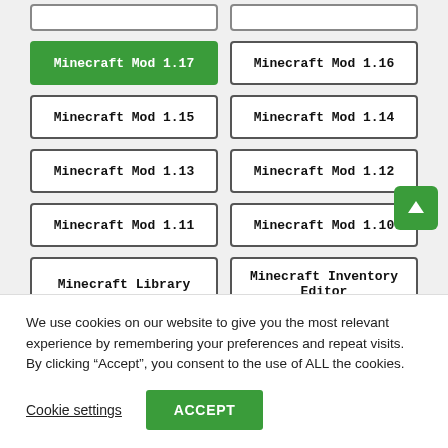(partial top row - truncated buttons)
Minecraft Mod 1.17 (active/selected), Minecraft Mod 1.16
Minecraft Mod 1.15, Minecraft Mod 1.14
Minecraft Mod 1.13, Minecraft Mod 1.12
Minecraft Mod 1.11, Minecraft Mod 1.10
Minecraft Library, Minecraft Inventory Editor
Minecraft Core, Minecraft Christmas
(partial bottom row - truncated buttons)
We use cookies on our website to give you the most relevant experience by remembering your preferences and repeat visits. By clicking “Accept”, you consent to the use of ALL the cookies.
Cookie settings | ACCEPT